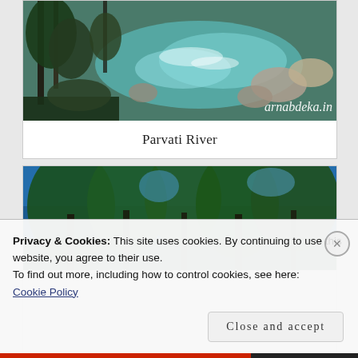[Figure (photo): Aerial view of Parvati River with turquoise water flowing over rocks, surrounded by pine trees. Watermark reads 'arnabdeka.in' in bottom right corner.]
Parvati River
[Figure (photo): Forest of tall green pine/deodar trees against a bright blue sky, viewed from below looking up.]
Privacy & Cookies: This site uses cookies. By continuing to use this website, you agree to their use.
To find out more, including how to control cookies, see here:
Cookie Policy
Close and accept